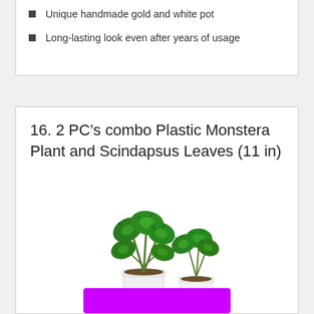Unique handmade gold and white pot
Long-lasting look even after years of usage
16. 2 PC’s combo Plastic Monstera Plant and Scindapsus Leaves (11 in)
[Figure (photo): Two artificial Monstera plants in white pots of different sizes on white background]